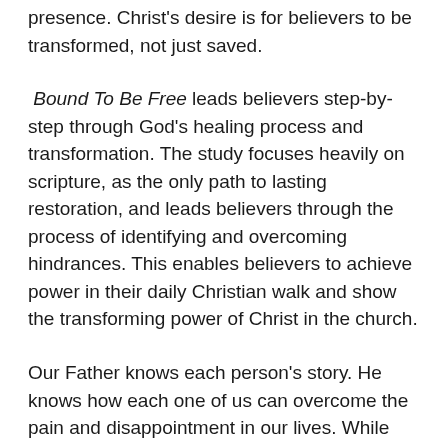presence. Christ's desire is for believers to be transformed, not just saved.
Bound To Be Free leads believers step-by-step through God's healing process and transformation. The study focuses heavily on scripture, as the only path to lasting restoration, and leads believers through the process of identifying and overcoming hindrances. This enables believers to achieve power in their daily Christian walk and show the transforming power of Christ in the church.
Our Father knows each person's story. He knows how each one of us can overcome the pain and disappointment in our lives. While some numb the pain others walk through the fire, allowing The Refiner to mold us into the precious treasure He created us to be. Take a step in your journey to victory today